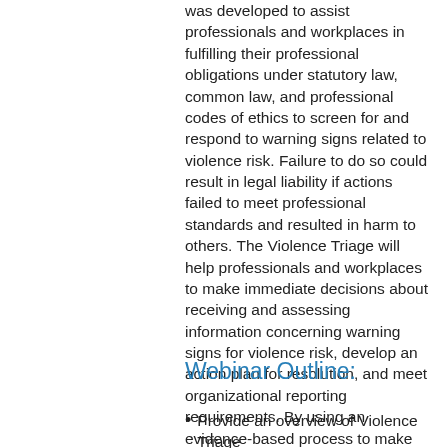was developed to assist professionals and workplaces in fulfilling their professional obligations under statutory law, common law, and professional codes of ethics to screen for and respond to warning signs related to violence risk. Failure to do so could result in legal liability if actions failed to meet professional standards and resulted in harm to others. The Violence Triage will help professionals and workplaces to make immediate decisions about receiving and assessing information concerning warning signs for violence risk, develop an action plan for resolution, and meet organizational reporting requirements. By using an evidence-based process to make these decisions, workplaces will be protecting themselves from potential liability and protecting others from future harm.
Webinar Outline:
Provide an overview of Violence Triage